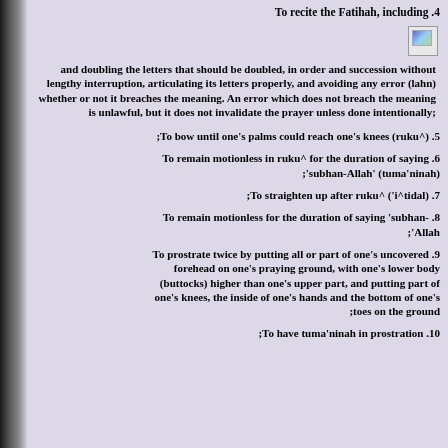4. To recite the Fatihah, including
[Figure (illustration): Small decorative image placeholder]
and doubling the letters that should be doubled, in order and succession without lengthy interruption, articulating its letters properly, and avoiding any error (lahn) whether or not it breaches the meaning. An error which does not breach the meaning is unlawful, but it does not invalidate the prayer unless done intentionally;
5. To bow until one's palms could reach one's knees (ruku^);
6. To remain motionless in ruku^ for the duration of saying 'subhan-Allah' (tuma'ninah);
7. To straighten up after ruku^ ('i^tidal);
8. To remain motionless for the duration of saying 'subhan-Allah;
9. To prostrate twice by putting all or part of one's uncovered forehead on one's praying ground, with one's lower body (buttocks) higher than one's upper part, and putting part of one's knees, the inside of one's hands and the bottom of one's toes on the ground;
10. To have tuma'ninah in prostration;